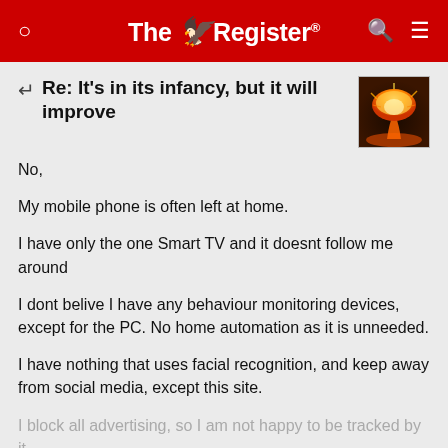The Register
Re: It's in its infancy, but it will improve
No,
My mobile phone is often left at home.
I have only the one Smart TV and it doesnt follow me around
I dont belive I have any behaviour monitoring devices, except for the PC. No home automation as it is unneeded.
I have nothing that uses facial recognition, and keep away from social media, except this site.
I block all advertising, so I am not happy to be tracked by it.